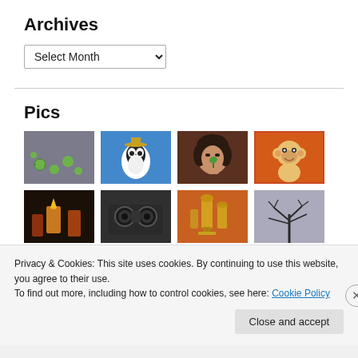Archives
[Figure (screenshot): A dropdown select box with label 'Select Month' and a chevron arrow]
Pics
[Figure (photo): Grid of thumbnail photos: row 1 - green spiky seed balls on pavement, a penguin/panda costume character, a woman holding something green near her mouth, an anime monkey character on orange background; row 2 - a dark candle scene, close-up of camera/binoculars, golden award trophies, bare winter tree silhouette in fog]
Privacy & Cookies: This site uses cookies. By continuing to use this website, you agree to their use.
To find out more, including how to control cookies, see here: Cookie Policy
Close and accept